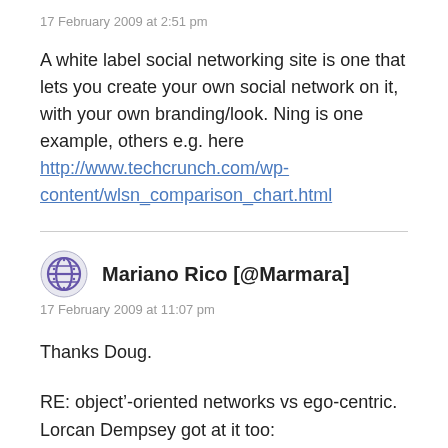17 February 2009 at 2:51 pm
A white label social networking site is one that lets you create your own social network on it, with your own branding/look. Ning is one example, others e.g. here http://www.techcrunch.com/wp-content/wlsn_comparison_chart.html
Mariano Rico [@Marmara]
17 February 2009 at 11:07 pm
Thanks Doug.
RE: object'-oriented networks vs ego-centric. Lorcan Dempsey got at it too: